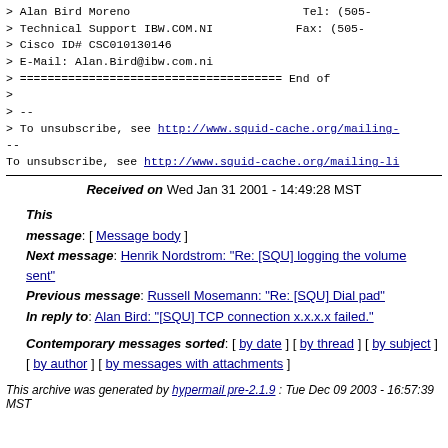> Alan Bird Moreno   Tel: (505-
> Technical Support IBW.COM.NI   Fax: (505-
> Cisco ID# CSC010130146
> E-Mail: Alan.Bird@ibw.com.ni
> ============================== End of
>
> --
> To unsubscribe, see http://www.squid-cache.org/mailing-
--
To unsubscribe, see http://www.squid-cache.org/mailing-li
Received on Wed Jan 31 2001 - 14:49:28 MST
This message: [ Message body ]
Next message: Henrik Nordstrom: "Re: [SQU] logging the volume sent"
Previous message: Russell Mosemann: "Re: [SQU] Dial pad"
In reply to: Alan Bird: "[SQU] TCP connection x.x.x.x failed."
Contemporary messages sorted: [ by date ] [ by thread ] [ by subject ] [ by author ] [ by messages with attachments ]
This archive was generated by hypermail pre-2.1.9 : Tue Dec 09 2003 - 16:57:39 MST